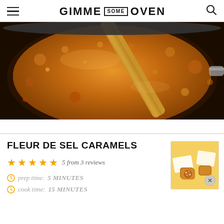GIMME SOME OVEN
[Figure (photo): Close-up of caramel sauce being stirred in a dark pan with a wooden spoon, bubbling golden-brown caramel visible]
FLEUR DE SEL CARAMELS
5 from 3 reviews
prep time: 5 MINUTES
cook time: 15 MINUTES
[Figure (photo): Thumbnail image of wrapped fleur de sel caramels on white parchment paper]